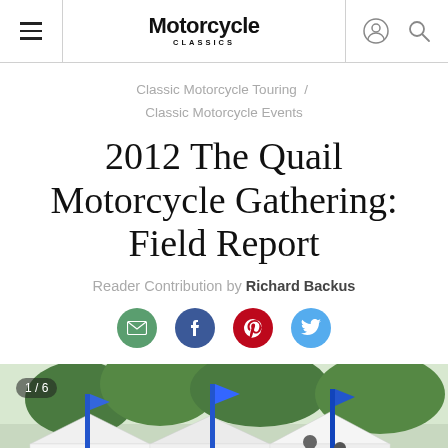Motorcycle Classics
Classic Motorcycle Touring / Classic Motorcycle Events
2012 The Quail Motorcycle Gathering: Field Report
Reader Contribution by Richard Backus
[Figure (screenshot): Social sharing icons: email (green), Facebook (blue), Pinterest (red), Twitter (blue)]
[Figure (photo): Outdoor motorcycle gathering event with white tents, blue banners, and motorcycles. Image counter shows 1/6.]